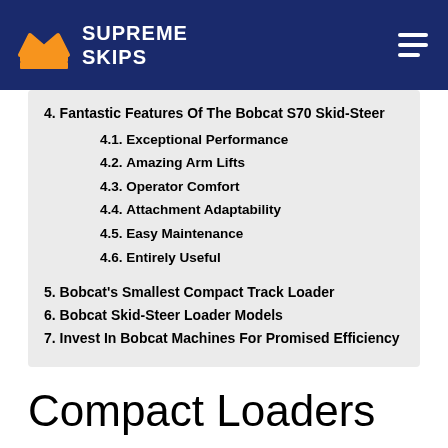SUPREME SKIPS
4. Fantastic Features Of The Bobcat S70 Skid-Steer
4.1. Exceptional Performance
4.2. Amazing Arm Lifts
4.3. Operator Comfort
4.4. Attachment Adaptability
4.5. Easy Maintenance
4.6. Entirely Useful
5. Bobcat's Smallest Compact Track Loader
6. Bobcat Skid-Steer Loader Models
7. Invest In Bobcat Machines For Promised Efficiency
Compact Loaders